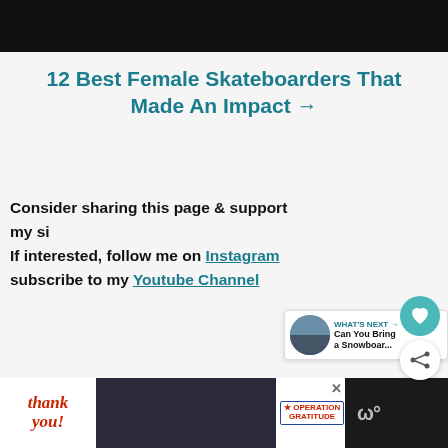[Figure (photo): Black bar at top representing a video or image placeholder]
12 Best Female Skateboarders That Made An Impact →
[Figure (illustration): Heart/like button circle icon in teal]
[Figure (illustration): Share button circle icon]
Consider sharing this page & support my si… If interested, follow me on Instagram… subscribe to my Youtube Channel
[Figure (screenshot): What's Next widget: Can You Bring a Snowboar...]
[Figure (photo): Advertisement banner: Thank you / Operation Gratitude with firefighters photo]